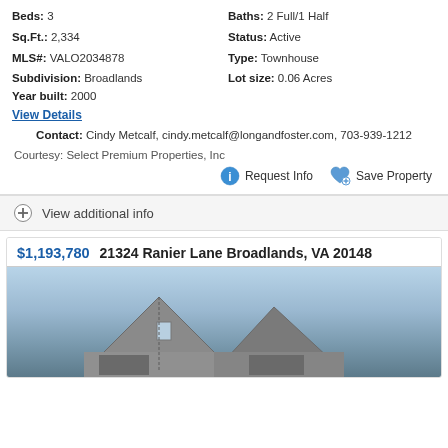Beds: 3 | Baths: 2 Full/1 Half
Sq.Ft.: 2,334 | Status: Active
MLS#: VALO2034878 | Type: Townhouse
Subdivision: Broadlands | Lot size: 0.06 Acres
Year built: 2000
View Details
Contact: Cindy Metcalf, cindy.metcalf@longandfoster.com, 703-939-1212
Courtesy: Select Premium Properties, Inc
Request Info  Save Property
View additional info
$1,193,780  21324 Ranier Lane Broadlands, VA 20148
[Figure (photo): Exterior photo of a house with gray siding and a pointed roof against a blue sky with white clouds]